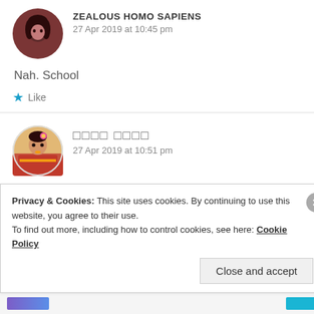[Figure (illustration): Circular avatar of a person with dark hair against a dark reddish-brown background]
ZEALOUS HOMO SAPIENS
27 Apr 2019 at 10:45 pm
Nah. School
★ Like
[Figure (illustration): Circular avatar of a person in colorful traditional Indian attire with floral decorations]
□□□□ □□□□
27 Apr 2019 at 10:51 pm
Privacy & Cookies: This site uses cookies. By continuing to use this website, you agree to their use.
To find out more, including how to control cookies, see here: Cookie Policy
Close and accept